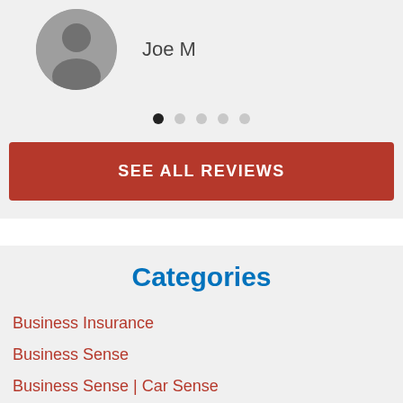[Figure (photo): Silhouette avatar of user Joe M]
Joe M
[Figure (other): Carousel navigation dots, 5 dots with first one active]
SEE ALL REVIEWS
Categories
Business Insurance
Business Sense
Business Sense | Car Sense
Business Sense | ERIE Stories